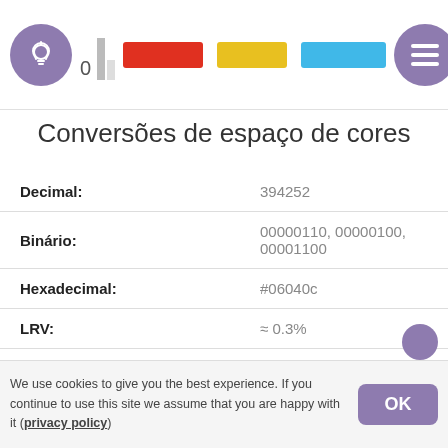0  [color swatches: red, yellow, blue]
Conversões de espaço de cores
| Label | Value |
| --- | --- |
| Decimal: | 394252 |
| Binário: | 00000110, 00000100, 00001100 |
| Hexadecimal: | #06040c |
| LRV: | ≈ 0.3% |
| Hex curto mais próximo: | #001  ΔE = 3.333 |
| RGB: | rgb(6, 4, 12) |
| RGBA: | rgba(6, 4, 12, 1.0) |
We use cookies to give you the best experience. If you continue to use this site we assume that you are happy with it (privacy policy)